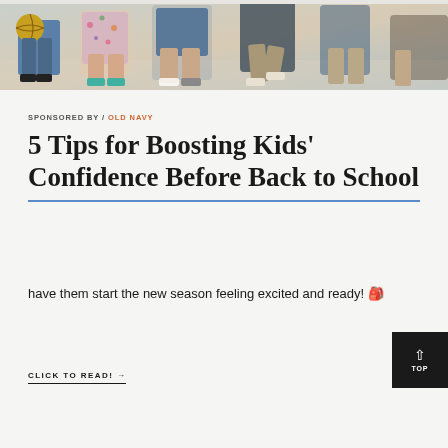[Figure (photo): Cropped photo showing children and adults from the waist down wearing shorts and casual summer clothing, one child holding a basketball, outdoor setting]
SPONSORED BY / OLD NAVY
5 Tips for Boosting Kids' Confidence Before Back to School
have them start the new season feeling excited and ready! 🎒
CLICK TO READ! →